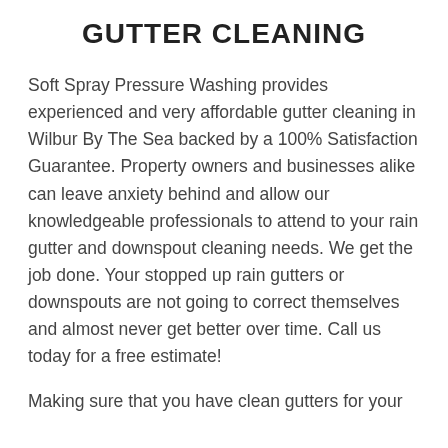GUTTER CLEANING
Soft Spray Pressure Washing provides experienced and very affordable gutter cleaning in Wilbur By The Sea backed by a 100% Satisfaction Guarantee. Property owners and businesses alike can leave anxiety behind and allow our knowledgeable professionals to attend to your rain gutter and downspout cleaning needs. We get the job done. Your stopped up rain gutters or downspouts are not going to correct themselves and almost never get better over time. Call us today for a free estimate!
Making sure that you have clean gutters for your